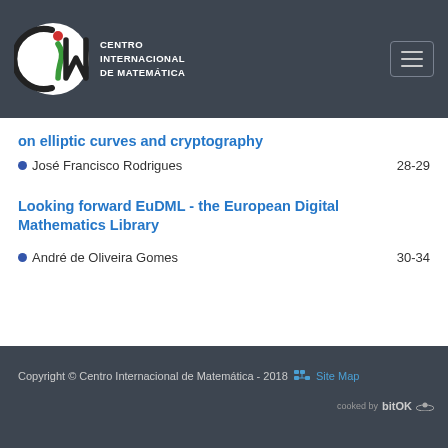[Figure (logo): CIM - Centro Internacional de Matemática logo with stylized C, i (red dot), M letters and green figure, with navigation hamburger menu button]
on elliptic curves and cryptography
José Francisco Rodrigues   28-29
Looking forward EuDML - the European Digital Mathematics Library
André de Oliveira Gomes   30-34
Copyright © Centro Internacional de Matemática - 2018  Site Map  cooked by bitOK